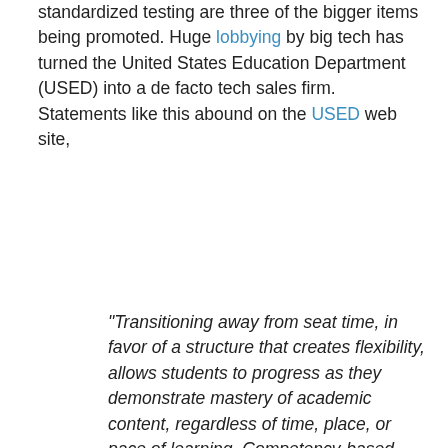standardized testing are three of the bigger items being promoted. Huge lobbying by big tech has turned the United States Education Department (USED) into a de facto tech sales firm. Statements like this abound on the USED web site,
“Transitioning away from seat time, in favor of a structure that creates flexibility, allows students to progress as they demonstrate mastery of academic content, regardless of time, place, or pace of learning. Competency-based strategies provide flexibility in the way that credit can be earned or awarded, and provide students with personalized learning opportunities. These strategies include online and blended learning, dual enrollment and early college high schools, project-based and community-based learning, and credit recovery,